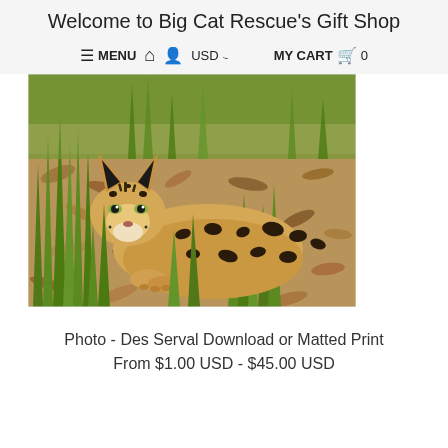Welcome to Big Cat Rescue's Gift Shop
≡ MENU  🏠  👤  USD ∨    MY CART  🛒  0
[Figure (photo): A serval wild cat lying on leaf-covered ground surrounded by green grass, looking directly at the camera. The cat has large ears, spotted tan and black coat.]
Photo - Des Serval Download or Matted Print
From $1.00 USD - $45.00 USD